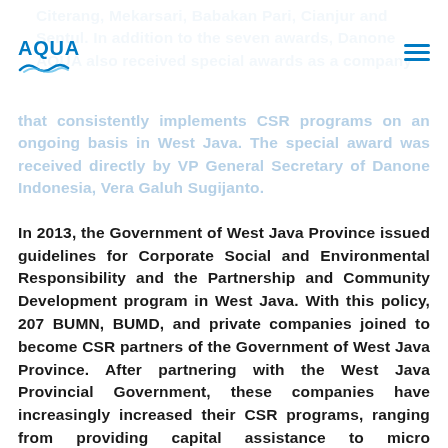AQUA logo and navigation
Citerang, Mekarsari, Babakan Pari, Cianjur and Sentul. In addition to the seven awards, Danone AQUA also received special awards as a company that consistently implements CSR programs on an ongoing basis in West Java. The special award was received directly by VP General Secretary of Danone Indonesia, Vera Galuh Sugijanto.
In 2013, the Government of West Java Province issued guidelines for Corporate Social and Environmental Responsibility and the Partnership and Community Development program in West Java. With this policy, 207 BUMN, BUMD, and private companies joined to become CSR partners of the Government of West Java Province. After partnering with the West Java Provincial Government, these companies have increasingly increased their CSR programs, ranging from providing capital assistance to micro businesses, training scholarships, education, improving health